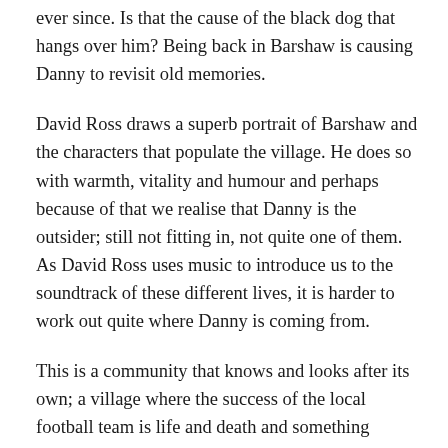ever since. Is that the cause of the black dog that hangs over him? Being back in Barshaw is causing Danny to revisit old memories.
David Ross draws a superb portrait of Barshaw and the characters that populate the village. He does so with warmth, vitality and humour and perhaps because of that we realise that Danny is the outsider; still not fitting in, not quite one of them. As David Ross uses music to introduce us to the soundtrack of these different lives, it is harder to work out quite where Danny is coming from.
This is a community that knows and looks after its own; a village where the success of the local football team is life and death and something tangible to hope for amidst a welter of broken promises and impossible dreams. This team gives the village hope and heart and something to be